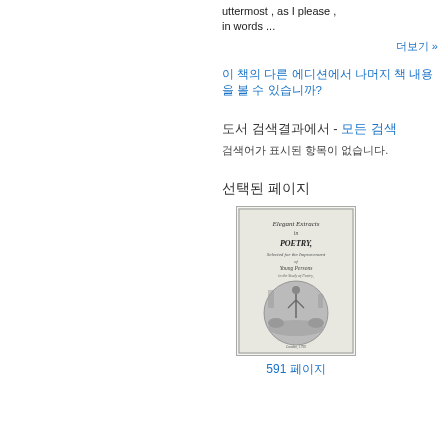uttermost , as I please , in words ...
더보기 »
이 책의 다른 에디션에서 나머지 책 내용을 볼 수 있습니까?
도서 검색결과에서 - 모든 검색
검색어가 표시된 항목이 없습니다.
선택된 페이지
[Figure (photo): Book cover image of 'Elegant Extracts in Poetry' showing decorative title text and circular engraving of a classical scene]
591 페이지